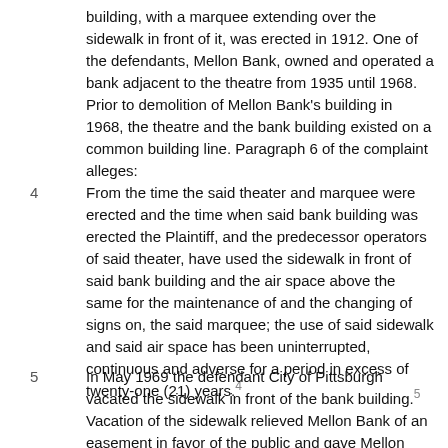building, with a marquee extending over the sidewalk in front of it, was erected in 1912. One of the defendants, Mellon Bank, owned and operated a bank adjacent to the theatre from 1935 until 1968. Prior to demolition of Mellon Bank's building in 1968, the theatre and the bank building existed on a common building line. Paragraph 6 of the complaint alleges:
4  From the time the said theater and marquee were erected and the time when said bank building was erected the Plaintiff, and the predecessor operators of said theater, have used the sidewalk in front of said bank building and the air space above the same for the maintenance of and the changing of signs on, the said marquee; the use of said sidewalk and said air space has been uninterrupted, continuous and adverse for a period in excess of twenty-one (21) years.[4]
5  In May 1969 the defendant City of Pittsburgh vacated the sidewalk in front of the bank building.[5] Vacation of the sidewalk relieved Mellon Bank of an easement in favor of the public and gave Mellon Bank a fee simple title, free of all encumbrances, to the 10-foot wide strip of land that formerly constituted the public sidewalk. In August 1969 RKO learned that Mellon Bank planned to construct a new building